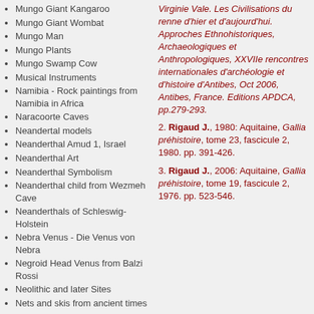Mungo Giant Kangaroo
Mungo Giant Wombat
Mungo Man
Mungo Plants
Mungo Swamp Cow
Musical Instruments
Namibia - Rock paintings from Namibia in Africa
Naracoorte Caves
Neandertal models
Neanderthal Amud 1, Israel
Neanderthal Art
Neanderthal Symbolism
Neanderthal child from Wezmeh Cave
Neanderthals of Schleswig-Holstein
Nebra Venus - Die Venus von Nebra
Negroid Head Venus from Balzi Rossi
Neolithic and later Sites
Nets and skis from ancient times
Niaux - Grotte de Niaux Cave Art and History
Niaux - Grotte de Niaux Description and History
Niaux Cave index
Niaux Cave maps, plans and aerial photos
Virginie Vale. Les Civilisations du renne d'hier et d'aujourd'hui. Approches Ethnohistoriques, Archaeologiques et Anthropologiques, XXVIIe rencontres internationales d'archéologie et d'histoire d'Antibes, Oct 2006, Antibes, France. Editions APDCA, pp.279-293.
2. Rigaud J., 1980: Aquitaine, Gallia préhistoire, tome 23, fascicule 2, 1980. pp. 391-426.
3. Rigaud J., 2006: Aquitaine, Gallia préhistoire, tome 19, fascicule 2, 1976. pp. 523-546.